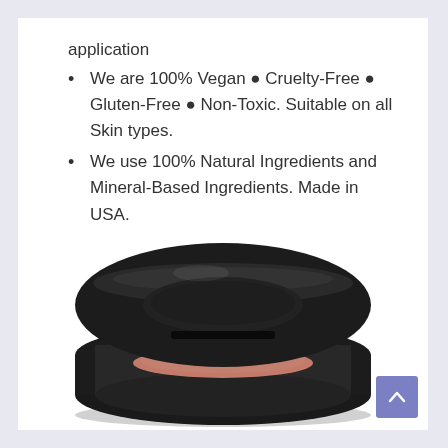application
We are 100% Vegan ● Cruelty-Free ● Gluten-Free ● Non-Toxic. Suitable on all Skin types.
We use 100% Natural Ingredients and Mineral-Based Ingredients. Made in USA.
[Figure (photo): A round black compact makeup pan (eyeshadow or blush) with a rose/mauve colored pressed powder, viewed at an angle showing the open compact from above.]